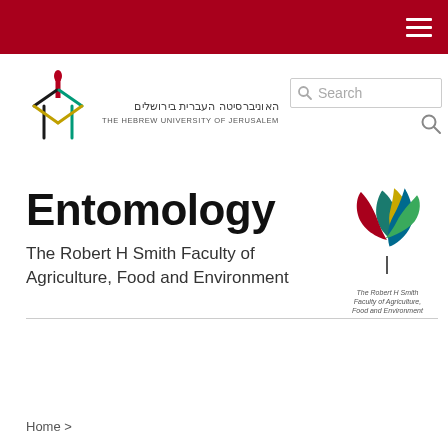Hebrew University of Jerusalem - Entomology department page header with navigation
[Figure (logo): Hebrew University of Jerusalem logo with torch/menorah icon and Hebrew and English text]
[Figure (logo): The Robert H Smith Faculty of Agriculture, Food and Environment logo - colorful leaf/petals design]
Entomology
The Robert H Smith Faculty of Agriculture, Food and Environment
Home >